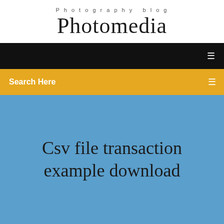Photography blog
Photomedia
Search Here
Csv file transaction example download